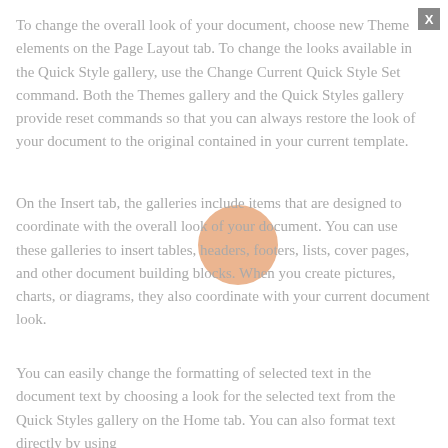To change the overall look of your document, choose new Theme elements on the Page Layout tab. To change the looks available in the Quick Style gallery, use the Change Current Quick Style Set command. Both the Themes gallery and the Quick Styles gallery provide reset commands so that you can always restore the look of your document to the original contained in your current template.
[Figure (illustration): An orange/peach colored circle overlapping the second paragraph of text]
On the Insert tab, the galleries include items that are designed to coordinate with the overall look of your document. You can use these galleries to insert tables, headers, footers, lists, cover pages, and other document building blocks. When you create pictures, charts, or diagrams, they also coordinate with your current document look.
You can easily change the formatting of selected text in the document text by choosing a look for the selected text from the Quick Styles gallery on the Home tab. You can also format text directly by using